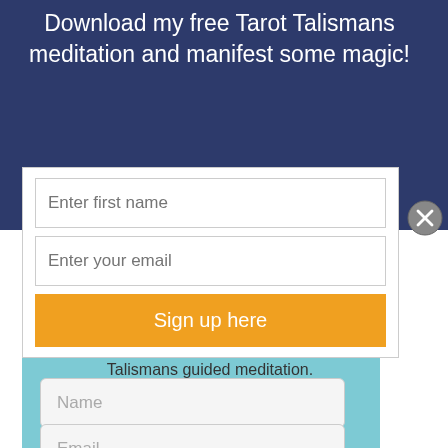Download my free Tarot Talismans meditation and manifest some magic!
Enter first name
Enter your email
Sign up here
Tarot Readings
Receive a Free Tarot reading directly to your inbox each Tuesday.  Rock your week, every week! BONUS GIFT: download my Tarot and Talismans guided meditation.
Name
Email